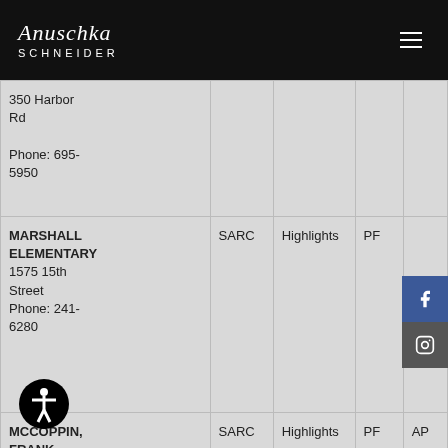Anuschka SCHNEIDER
| School / Address | SARC | Highlights | PF | AP |
| --- | --- | --- | --- | --- |
| 350 Harbor Rd
Phone: 695-5950 |  |  |  |  |
| MARSHALL ELEMENTARY
1575 15th Street
Phone: 241-6280 | SARC | Highlights | PF |  |
| MCCOPPIN, FRANK | SARC | Highlights | PF | AP |